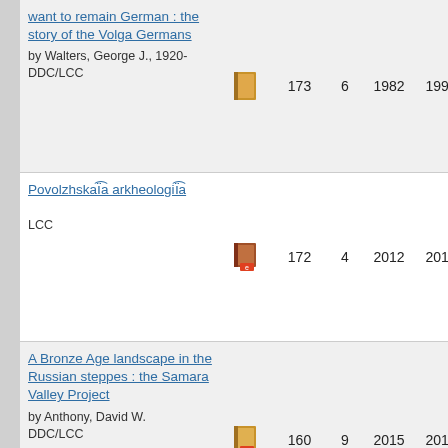| Title/Author | Icon | 173/172/160 | 6/4/9 | 1982/2012/2015 | 1993/2012/2016 |
| --- | --- | --- | --- | --- | --- |
| want to remain German : the story of the Volga Germans | by Walters, George J., 1920- DDC/LCC | book-icon | 173 | 6 | 1982 | 1993 |
| Povolzhskaïa arkheologiïa | LCC | ebook-icon | 172 | 4 | 2012 | 2012 |
| A Bronze Age landscape in the Russian steppes : the Samara Valley Project | by Anthony, David W. DDC/LCC | ebook-icon | 160 | 9 | 2015 | 2016 |
| A trip up the Volga to the fair of Nizhni... |  |  |  |  |  |